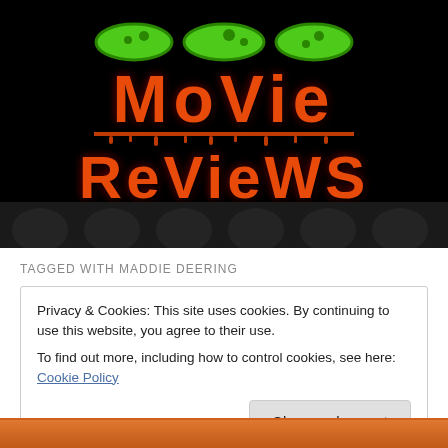[Figure (screenshot): Horror-themed website banner with black background showing 'MoVie ReVieWS' text in dripping orange-red horror font, with partial green slime logo at top]
TAGGED WITH MADDIE DEERING
Privacy & Cookies: This site uses cookies. By continuing to use this website, you agree to their use.
To find out more, including how to control cookies, see here: Cookie Policy
Close and accept